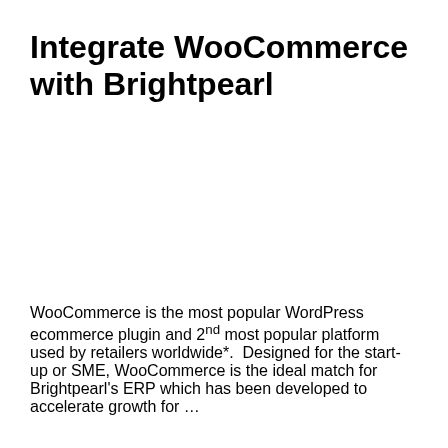Integrate WooCommerce with Brightpearl
WooCommerce is the most popular WordPress ecommerce plugin and 2nd most popular platform used by retailers worldwide*. Designed for the start-up or SME, WooCommerce is the ideal match for Brightpearl's ERP which has been developed to accelerate growth for …
Read More
[Figure (photo): Row of fashion/business photos showing women in professional attire]